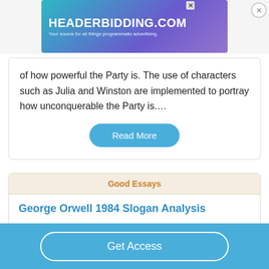[Figure (screenshot): HEADERBIDDING.COM advertisement banner — Your source for all things programmatic advertising.]
of how powerful the Party is. The use of characters such as Julia and Winston are implemented to portray how unconquerable the Party is….
Read More
Good Essays
George Orwell 1984 Slogan Analysis
858 Words
Get Access